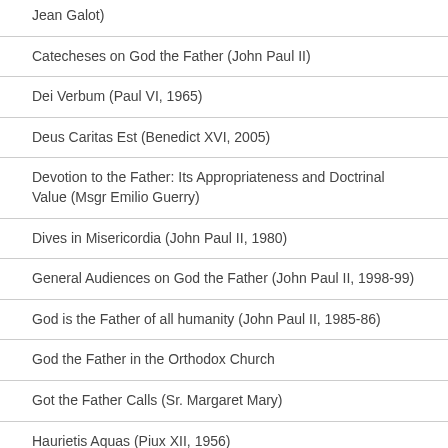Jean Galot)
Catecheses on God the Father (John Paul II)
Dei Verbum (Paul VI, 1965)
Deus Caritas Est (Benedict XVI, 2005)
Devotion to the Father: Its Appropriateness and Doctrinal Value (Msgr Emilio Guerry)
Dives in Misericordia (John Paul II, 1980)
General Audiences on God the Father (John Paul II, 1998-99)
God is the Father of all humanity (John Paul II, 1985-86)
God the Father in the Orthodox Church
Got the Father Calls (Sr. Margaret Mary)
Haurietis Aquas (Piux XII, 1956)
Hebrew Names for God the Father